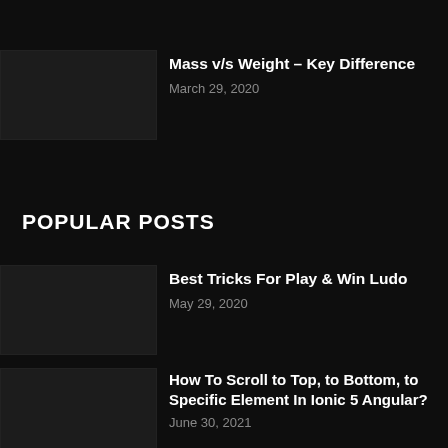[Figure (photo): Thumbnail image for Mass v/s Weight post, dark/blurred background]
Mass v/s Weight – Key Difference
March 29, 2020
POPULAR POSTS
[Figure (photo): Thumbnail image for Best Tricks For Play & Win Ludo post, dark background]
Best Tricks For Play & Win Ludo
May 29, 2020
[Figure (photo): Thumbnail image for How To Scroll to Top post, dark background]
How To Scroll to Top, to Bottom, to Specific Element In Ionic 5 Angular?
June 30, 2021